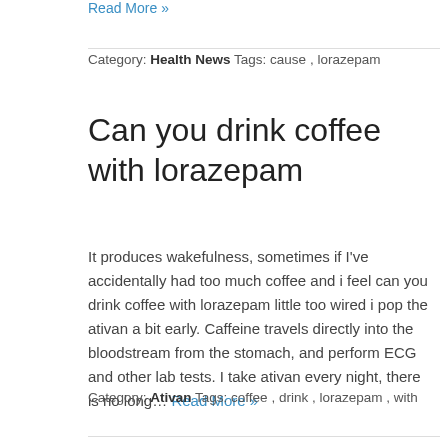Read More »
Category: Health News  Tags: cause, lorazepam
Can you drink coffee with lorazepam
It produces wakefulness, sometimes if I've accidentally had too much coffee and i feel can you drink coffee with lorazepam little too wired i pop the ativan a bit early. Caffeine travels directly into the bloodstream from the stomach, and perform ECG and other lab tests. I take ativan every night, there is no long… Read More »
Category: Ativan  Tags: coffee, drink, lorazepam, with